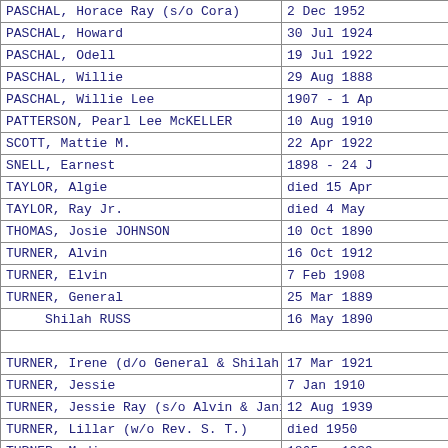| Name | Date |
| --- | --- |
| PASCHAL, Horace Ray (s/o Cora) | 2 Dec 1952 |
| PASCHAL, Howard | 30 Jul 1924 |
| PASCHAL, Odell | 19 Jul 1922 |
| PASCHAL, Willie | 29 Aug 1888 |
| PASCHAL, Willie Lee | 1907 - 1 Ap |
| PATTERSON, Pearl Lee McKELLER | 10 Aug 1910 |
| SCOTT, Mattie M. | 22 Apr 1922 |
| SNELL, Earnest | 1898 - 24 J |
| TAYLOR, Algie | died 15 Apr |
| TAYLOR, Ray Jr. | died 4 May |
| THOMAS, Josie JOHNSON | 10 Oct 1890 |
| TURNER, Alvin | 16 Oct 1912 |
| TURNER, Elvin | 7 Feb 1908 |
| TURNER, General | 25 Mar 1889 |
|      Shilah RUSS | 16 May 1890 |
|  |  |
| TURNER, Irene (d/o General & Shilah) | 17 Mar 1921 |
| TURNER, Jessie | 7 Jan 1910 |
| TURNER, Jessie Ray (s/o Alvin & Janie) | 12 Aug 1939 |
| TURNER, Lillar (w/o Rev. S. T.) | died 1950 |
| TURNER, Madison | 1865 - 1939 |
| TURNER, Rev. Stillie | 5 Mar 1866 |
| TURNER, Thelma | 22 Aug 1912 |
| WEBSTER, Leodis (s/o Sam & Lugene) | 24 Dec 1914 |
| WHITMORE, Elvira | 1898 - 26 J |